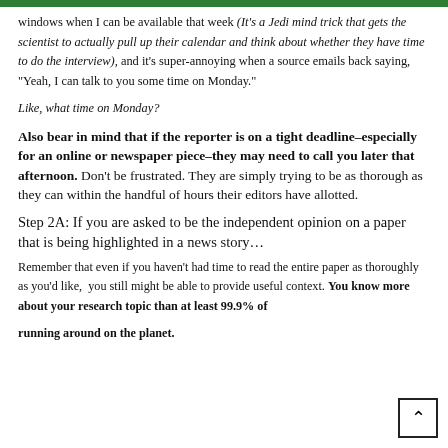windows when I can be available that week (It’s a Jedi mind trick that gets the scientist to actually pull up their calendar and think about whether they have time to do the interview), and it’s super-annoying when a source emails back saying, “Yeah, I can talk to you some time on Monday.”
Like, what time on Monday?
Also bear in mind that if the reporter is on a tight deadline–especially for an online or newspaper piece–they may need to call you later that afternoon. Don’t be frustrated. They are simply trying to be as thorough as they can within the handful of hours their editors have allotted.
Step 2A: If you are asked to be the independent opinion on a paper that is being highlighted in a news story…
Remember that even if you haven’t had time to read the entire paper as thoroughly as you’d like, you still might be able to provide useful context. You know more about your research topic than at least 99.9% of running around on the planet.